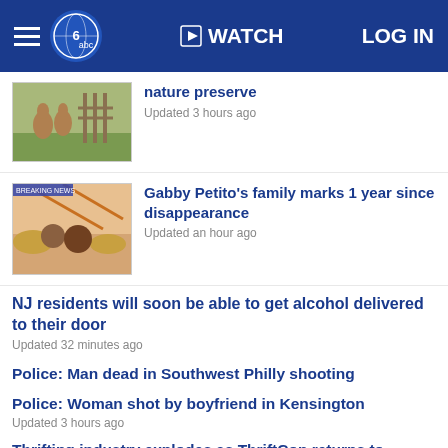WATCH | LOG IN
nature preserve
Updated 3 hours ago
Gabby Petito's family marks 1 year since disappearance
Updated an hour ago
NJ residents will soon be able to get alcohol delivered to their door
Updated 32 minutes ago
Police: Man dead in Southwest Philly shooting
Police: Woman shot by boyfriend in Kensington
Updated 3 hours ago
Thrifting industry explodes as ThriftCon returns to Philadelphia area
Updated 31 minutes ago